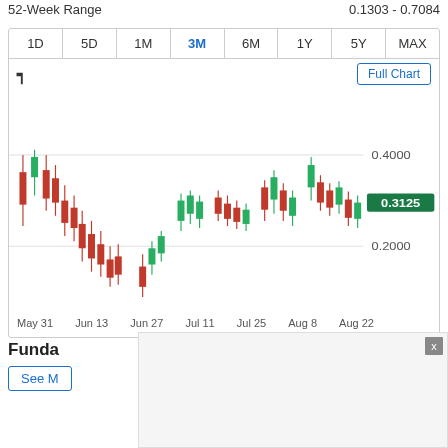52-Week Range    0.1303 - 0.7084
[Figure (continuous-plot): 3-month candlestick stock chart from May 31 to Aug 22, showing price range approximately 0.15 to 0.45, with a current price badge of 0.3125. Y-axis labels: 0.4000, 0.2000. X-axis labels: May 31, Jun 13, Jun 27, Jul 11, Jul 25, Aug 8, Aug 22. Active time tab: 3M. Red (down) and green (up) candlesticks shown throughout.]
Funda
See M